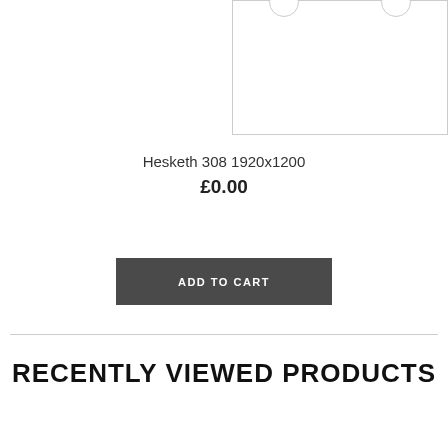[Figure (other): Product image placeholder box with two circular hangers/hooks at the top, white interior with border outline]
Hesketh 308 1920x1200
£0.00
ADD TO CART
RECENTLY VIEWED PRODUCTS